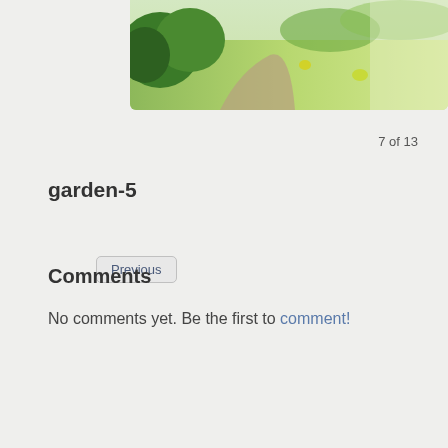[Figure (photo): A garden scene showing green grass, plants, and shrubbery viewed from above, partially visible at the top of the page.]
Previous
7 of 13
garden-5
Comments
No comments yet. Be the first to comment!